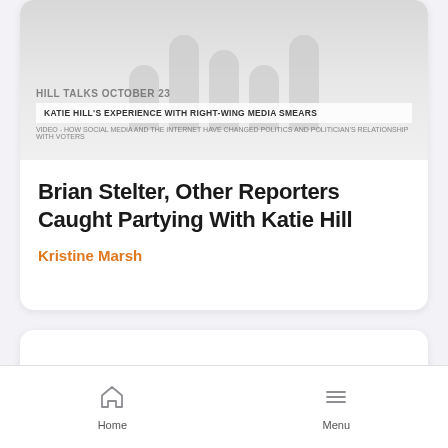[Figure (screenshot): Partially visible news article card with faded image showing text overlay: 'KATIE HILL'S EXPERIENCE WITH RIGHT-WING MEDIA SMEARS']
Brian Stelter, Other Reporters Caught Partying With Katie Hill
Kristine Marsh
[Figure (screenshot): Second article card, mostly blank/white, partially cut off at bottom]
Home   Menu